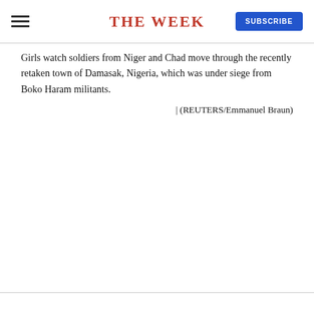THE WEEK | SUBSCRIBE
Girls watch soldiers from Niger and Chad move through the recently retaken town of Damasak, Nigeria, which was under siege from Boko Haram militants. | (REUTERS/Emmanuel Braun)